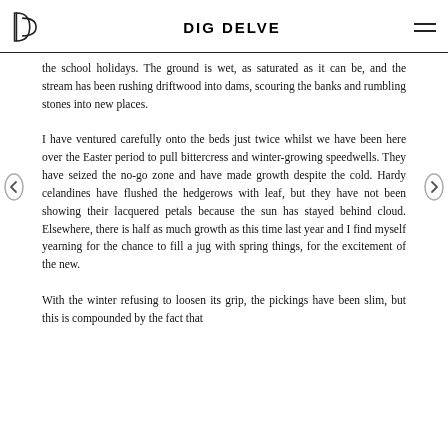DIG DELVE
the school holidays. The ground is wet, as saturated as it can be, and the stream has been rushing driftwood into dams, scouring the banks and rumbling stones into new places.
I have ventured carefully onto the beds just twice whilst we have been here over the Easter period to pull bittercress and winter-growing speedwells. They have seized the no-go zone and have made growth despite the cold. Hardy celandines have flushed the hedgerows with leaf, but they have not been showing their lacquered petals because the sun has stayed behind cloud. Elsewhere, there is half as much growth as this time last year and I find myself yearning for the chance to fill a jug with spring things, for the excitement of the new.
With the winter refusing to loosen its grip, the pickings have been slim, but this is compounded by the fact that